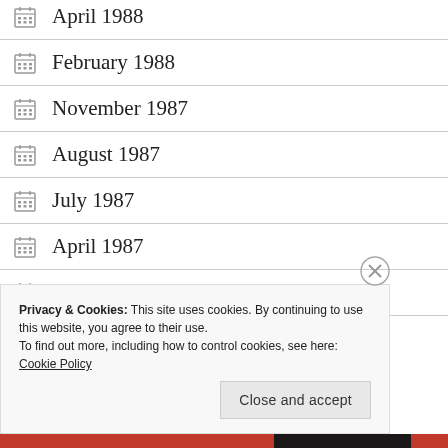April 1988
February 1988
November 1987
August 1987
July 1987
April 1987
January 1986
Privacy & Cookies: This site uses cookies. By continuing to use this website, you agree to their use. To find out more, including how to control cookies, see here: Cookie Policy
Close and accept